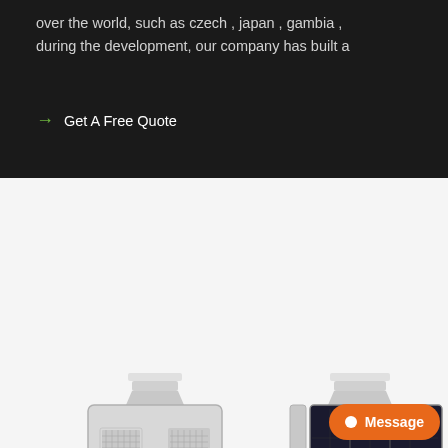over the world, such as czech , japan , gambia , during the development, our company has built a
→ Get A Free Quote
[Figure (photo): Two views of an all-in-one solar street light: front view showing the aluminum housing with ventilation grilles and LED lamp, and back view showing the solar panel array with mounting bracket.]
Message